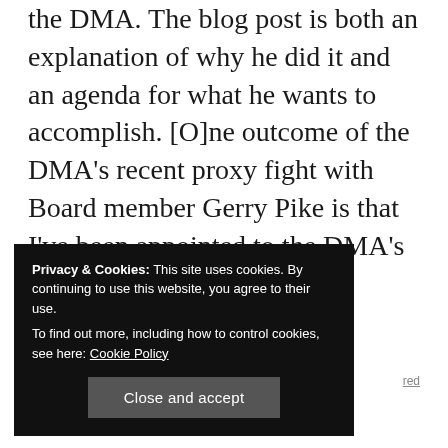the DMA. The blog post is both an explanation of why he did it and an agenda for what he wants to accomplish. [O]ne outcome of the DMA's recent proxy fight with Board member Gerry Pike is that I've been appointed to the DMA's Board and its Executive Committee and have been labeled...
Privacy & Cookies: This site uses cookies. By continuing to use this website, you agree to their use.
To find out more, including how to control cookies, see here: Cookie Policy
Close and accept